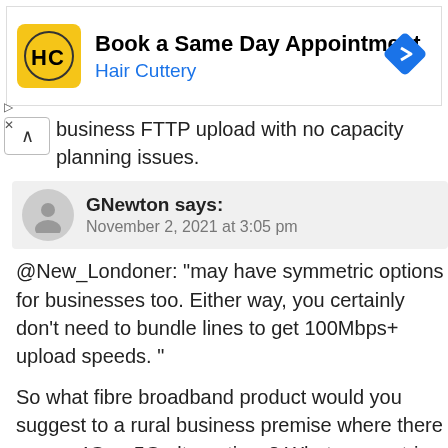[Figure (other): Hair Cuttery advertisement banner with logo, text 'Book a Same Day Appointment / Hair Cuttery', and a blue navigation arrow icon]
business FTTP upload with no capacity planning issues.
GNewton says: November 2, 2021 at 3:05 pm
@New_Londoner: “may have symmetric options for businesses too. Either way, you certainly don’t need to bundle lines to get 100Mbps+ upload speeds. ”
So what fibre broadband product would you suggest to a rural business premise where there are no 4G or 5G alternatives? What symmetric